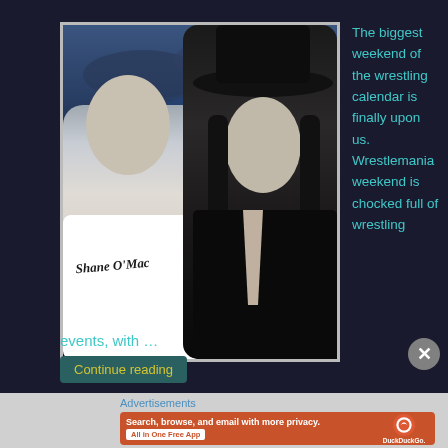[Figure (photo): Two wrestling figures — Shane McMahon in white Shane O'Mac jersey shirt and The Undertaker in black hat and coat, posed against a dark stormy sky background]
The biggest weekend of the wrestling calendar is finally upon us. Wrestlemania weekend is chocked full of wrestling events, with …
Continue reading
Advertisements
[Figure (screenshot): DuckDuckGo advertisement banner: 'Search, browse, and email with more privacy. All in One Free App' with DuckDuckGo logo on a phone mockup, orange background]